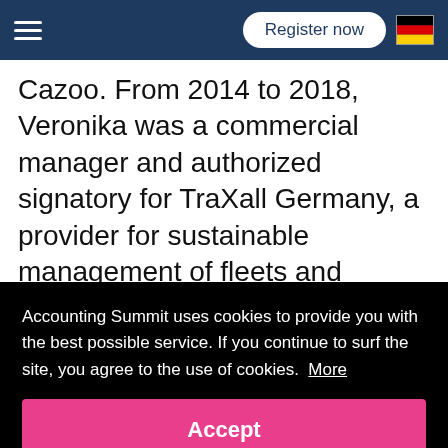Register now
Cazoo. From 2014 to 2018, Veronika was a commercial manager and authorized signatory for TraXall Germany, a provider for sustainable management of fleets and mobility. She co-founded the service provider
Accounting Summit uses cookies to provide you with the best possible service. If you continue to surf the site, you agree to the use of cookies. More
Accept
University of Dortmund and received her